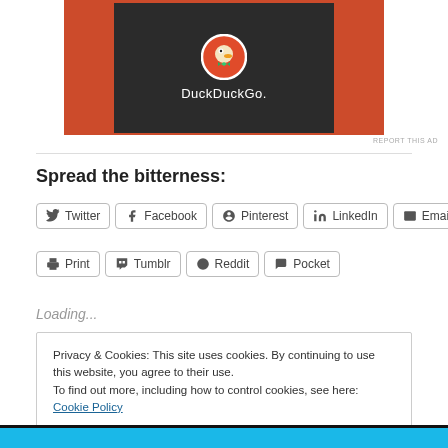[Figure (screenshot): DuckDuckGo advertisement banner showing duck logo on dark screen with orange background]
Spread the bitterness:
Twitter
Facebook
Pinterest
LinkedIn
Email
Print
Tumblr
Reddit
Pocket
Loading...
Privacy & Cookies: This site uses cookies. By continuing to use this website, you agree to their use.
To find out more, including how to control cookies, see here: Cookie Policy
[Figure (screenshot): Bottom image strip showing colorful scene]